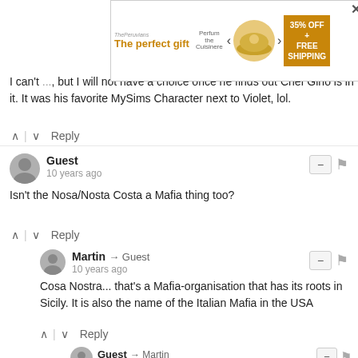[Figure (screenshot): Advertisement banner: 'The perfect gift' with food image, navigation arrows, and '35% OFF + FREE SHIPPING' badge, plus a close X button]
I can't ... but I will not have a choice once he finds out Chef Gino is in it. It was his favorite MySims Character next to Violet, lol.
^ | v Reply
Guest
10 years ago
Isn't the Nosa/Nosta Costa a Mafia thing too?
^ | v Reply
Martin → Guest
10 years ago
Cosa Nostra... that's a Mafia-organisation that has its roots in Sicily. It is also the name of the Italian Mafia in the USA
^ | v Reply
Guest → Martin
10 years ago
Thank you for the Clairifcation. I knew it was something like that. The closest I know of Mafia is Mario Puzzo's